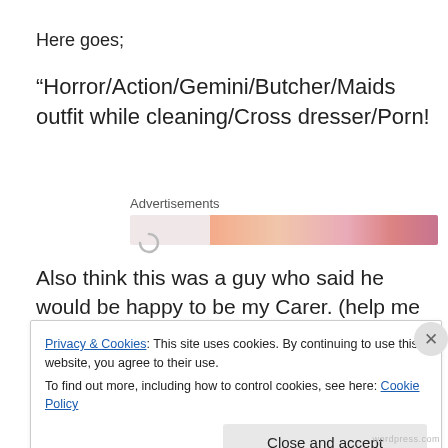Here goes;
“Horror/Action/Gemini/Butcher/Maids outfit while cleaning/Cross dresser/Porn!
[Figure (other): Advertisements banner with loading spinner and colorful gradient ad bar]
Also think this was a guy who said he would be happy to be my Carer. (help me after a shower etc)
Privacy & Cookies: This site uses cookies. By continuing to use this website, you agree to their use.
To find out more, including how to control cookies, see here: Cookie Policy
[Close and accept]